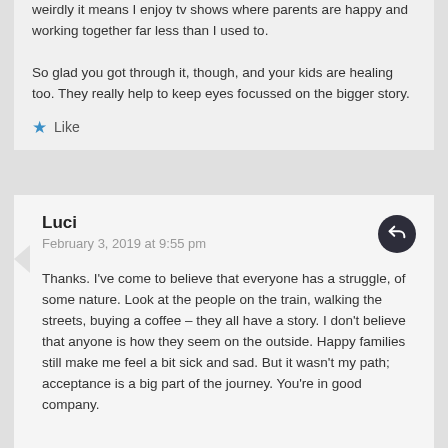weirdly it means I enjoy tv shows where parents are happy and working together far less than I used to.

So glad you got through it, though, and your kids are healing too. They really help to keep eyes focussed on the bigger story.
Like
Luci
February 3, 2019 at 9:55 pm
Thanks. I've come to believe that everyone has a struggle, of some nature. Look at the people on the train, walking the streets, buying a coffee – they all have a story. I don't believe that anyone is how they seem on the outside. Happy families still make me feel a bit sick and sad. But it wasn't my path; acceptance is a big part of the journey. You're in good company.